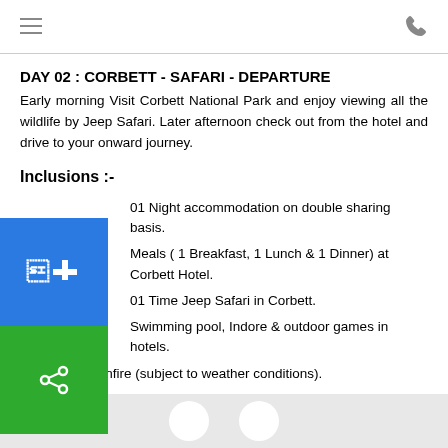Menu | Phone
DAY 02 : CORBETT - SAFARI - DEPARTURE
Early morning Visit Corbett National Park and enjoy viewing all the wildlife by Jeep Safari. Later afternoon check out from the hotel and drive to your onward journey.
Inclusions :-
01 Night accommodation on double sharing basis.
Meals ( 1 Breakfast, 1 Lunch & 1 Dinner) at Corbett Hotel.
01 Time Jeep Safari in Corbett.
Swimming pool, Indore & outdoor games in hotels.
Evening Bonfire (subject to weather conditions).
All applicable taxes
Exclusions :-